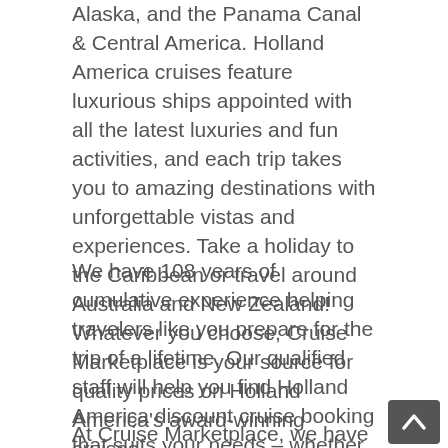Alaska, and the Panama Canal & Central America. Holland America cruises feature luxurious ships appointed with all the latest luxuries and fun activities, and each trip takes you to amazing destinations with unforgettable vistas and experiences. Take a holiday to the Caribbean or travel around Australia and New Zealand! Whatever you choose, Cruise Marketplace is your source for quality prices on Holland America's award-winning cruises.
We have 108 years of cumulative experience helping travelers like you prepare for the trip of a lifetime. Our qualified staff will help you find Holland America discount cruise booking that suits your needs – whether you're planning for a future vacation or trying to find a last-minute cruise deal, we'll help you take advantage of Holland America's sales and special offers for 2021/2022/2023, and beyond. Book now for discounted rates and free gratuities and gift cards.
At Cruise Marketplace, we have the best cruise deals f…